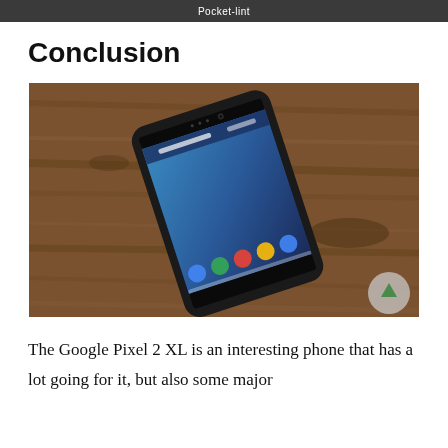Pocket-lint
Conclusion
[Figure (photo): Google Pixel 2 XL smartphone lying on a wooden surface, screen showing Android home screen with date Tuesday Oct 17]
The Google Pixel 2 XL is an interesting phone that has a lot going for it, but also some major